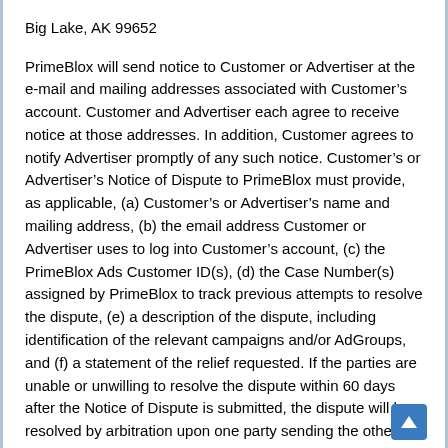Big Lake, AK 99652
PrimeBlox will send notice to Customer or Advertiser at the e-mail and mailing addresses associated with Customer's account. Customer and Advertiser each agree to receive notice at those addresses. In addition, Customer agrees to notify Advertiser promptly of any such notice. Customer's or Advertiser's Notice of Dispute to PrimeBlox must provide, as applicable, (a) Customer's or Advertiser's name and mailing address, (b) the email address Customer or Advertiser uses to log into Customer's account, (c) the PrimeBlox Ads Customer ID(s), (d) the Case Number(s) assigned by PrimeBlox to track previous attempts to resolve the dispute, (e) a description of the dispute, including identification of the relevant campaigns and/or AdGroups, and (f) a statement of the relief requested. If the parties are unable or unwilling to resolve the dispute within 60 days after the Notice of Dispute is submitted, the dispute will be resolved by arbitration upon one party sending the other party or parties and the American Arbitration Association (“AAA”) a demand for arbitration. No arbitration demand may be submitted until at least 60 days after submission of the Notice of Dispute. Unless the parties agree otherwise, Customer’s or Advertiser’s demand for arbitration